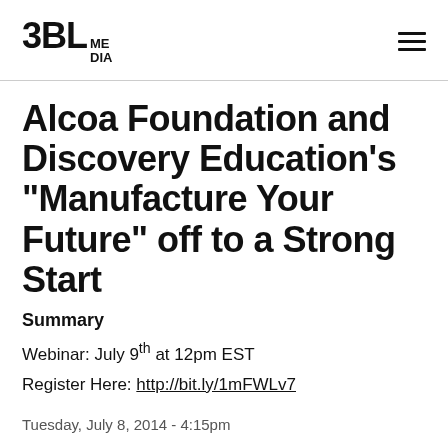3BL MEDIA
Alcoa Foundation and Discovery Education’s “Manufacture Your Future” off to a Strong Start
Summary
Webinar: July 9th at 12pm EST
Register Here: http://bit.ly/1mFWLv7
Tuesday, July 8, 2014 - 4:15pm